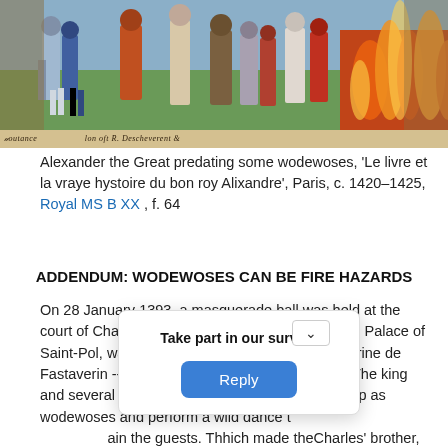[Figure (illustration): Medieval illuminated manuscript image showing Alexander the Great and figures with wodewoses near a fire. Bottom strip shows handwritten manuscript caption text in medieval script.]
Alexander the Great predating some wodewoses, 'Le livre et la vraye hystoire du bon roy Alixandre', Paris, c. 1420–1425, Royal MS B XX , f. 64
ADDENDUM: WODEWOSES CAN BE FIRE HAZARDS
On 28 January 1393, a masquerade ball was held at the court of Charles VI of France. The ball, held at the Palace of Saint-Pol, was to celebrate the marriage of Catherine de Fastaverin -- one of the queen's waiting women. The king and several of his companions decided to dress up as wodewoses and perform a wild dance to entertain the guests. Th[e costumes were made of linen soaked in resin, w]hich made them [highly flammable. The torch was brought too close to ]Charles' brother, th[e Duke of Orléans, and the result was a terrible sh]ock: the torch som[eone was carrying set the costumes on fire ]and they